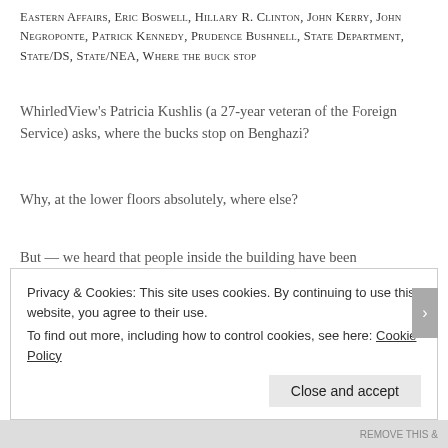Eastern Affairs, Eric Boswell, Hillary R. Clinton, John Kerry, John Negroponte, Patrick Kennedy, Prudence Bushnell, State Department, State/DS, State/NEA, Where the buck stop
WhirledView's Patricia Kushlis (a 27-year veteran of the Foreign Service) asks, where the bucks stop on Benghazi?
Why, at the lower floors absolutely, where else?
But — we heard that people inside the building have been asking/discussing uncomfortable questions like — by what process did the State Department chose one NEA deputy assistant secretary (DAS) who may or may not have had Libya in his portfolio and three Diplomatic Security (DS) officials for discipline?  What were the criteria for such discipline?  Why were the NEA Assistant Secretary and Principal Assistant Secretary (PDAS) not in the mix? Who made the
Privacy & Cookies: This site uses cookies. By continuing to use this website, you agree to their use.
To find out more, including how to control cookies, see here: Cookie Policy
Close and accept